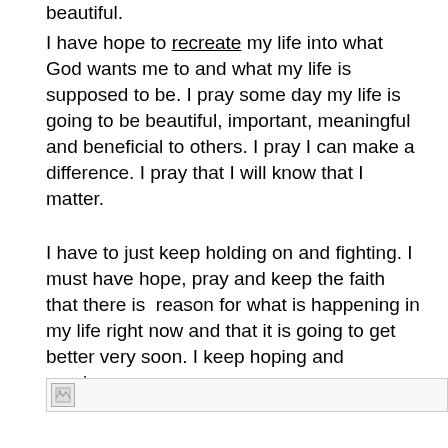beautiful.
I have hope to recreate my life into what God wants me to and what my life is supposed to be. I pray some day my life is going to be beautiful, important, meaningful and beneficial to others. I pray I can make a difference. I pray that I will know that I matter.
I have to just keep holding on and fighting. I must have hope, pray and keep the faith that there is reason for what is happening in my life right now and that it is going to get better very soon. I keep hoping and praying...
[Figure (photo): Broken/missing image placeholder at the bottom of the page]